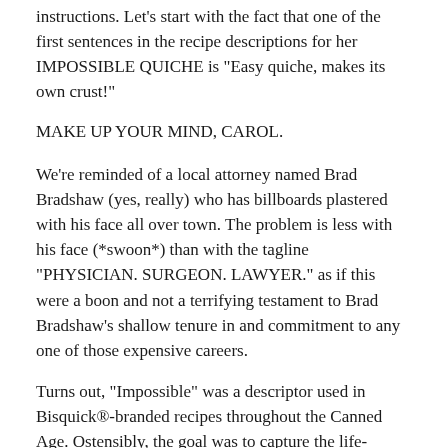instructions. Let's start with the fact that one of the first sentences in the recipe descriptions for her IMPOSSIBLE QUICHE is "Easy quiche, makes its own crust!"
MAKE UP YOUR MIND, CAROL.
We're reminded of a local attorney named Brad Bradshaw (yes, really) who has billboards plastered with his face all over town. The problem is less with his face (*swoon*) than with the tagline "PHYSICIAN. SURGEON. LAWYER." as if this were a boon and not a terrifying testament to Brad Bradshaw's shallow tenure in and commitment to any one of those expensive careers.
Turns out, "Impossible" was a descriptor used in Bisquick®-branded recipes throughout the Canned Age. Ostensibly, the goal was to capture the life-changing magic of crusting shit up.